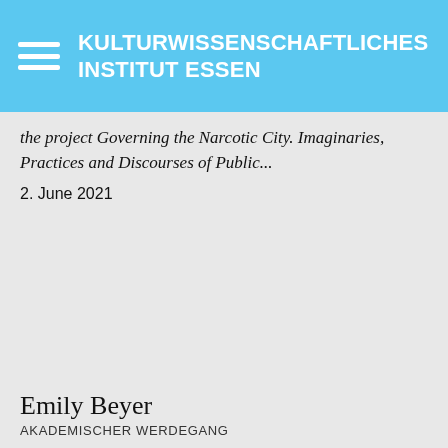KULTURWISSENSCHAFTLICHES INSTITUT ESSEN
the project Governing the Narcotic City. Imaginaries, Practices and Discourses of Public...
2. June 2021
Emily Beyer
AKADEMISCHER WERDEGANG